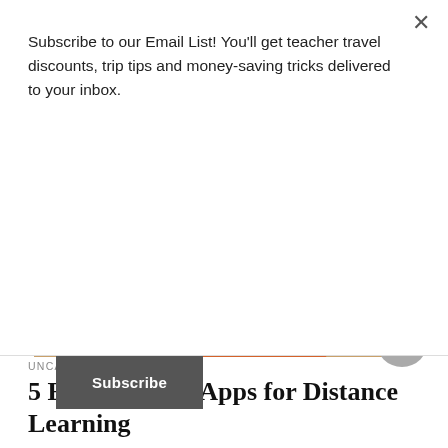Subscribe to our Email List! You'll get teacher travel discounts, trip tips and money-saving tricks delivered to your inbox.
Subscribe
[Figure (photo): Person wearing orange top sitting at a wooden desk with a keyboard, notebook, and stationery items, viewed from behind/side]
UNCATEGORIZED
5 Best Reading Apps for Distance Learning